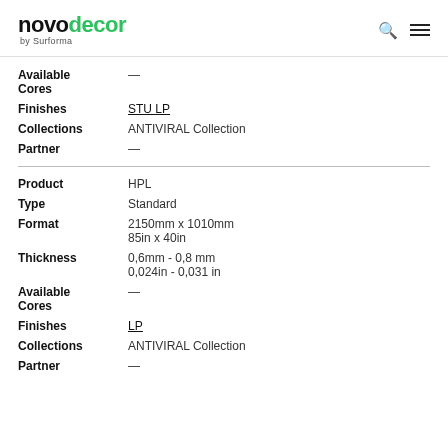novodecor by Surforma
Available Cores —
Finishes STU LP
Collections ANTIVIRAL Collection
Partner —
Product HPL
Type Standard
Format 2150mm x 1010mm 85in x 40in
Thickness 0,6mm - 0,8 mm 0,024in - 0,031 in
Available Cores —
Finishes LP
Collections ANTIVIRAL Collection
Partner —